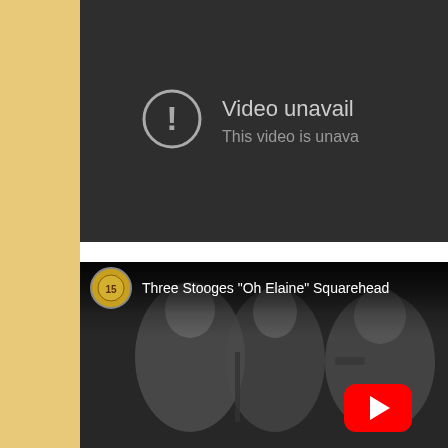[Figure (screenshot): YouTube 'Video unavailable' error panel with dark background, circular exclamation icon, and text 'Video unavailable / This video is unavailable']
[Figure (screenshot): YouTube video thumbnail for 'Three Stooges "Oh Elaine" Squarehead' showing a black and white scene with the Three Stooges playing instruments, with a YouTube play button overlay]